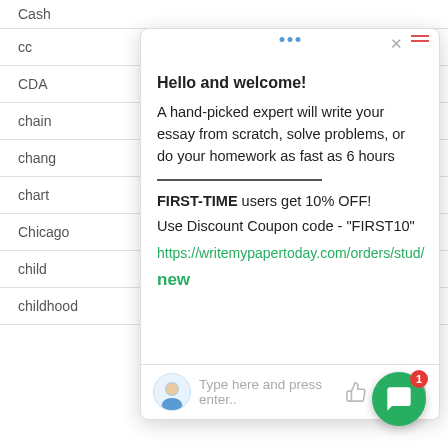Cash
cc
CDA
chain
chang
chart
Chicago | Chicago Style
child | childcare
childhood | children
Hello and welcome!
A hand-picked expert will write your essay from scratch, solve problems, or do your homework as fast as 6 hours
FIRST-TIME users get 10% OFF!
Use Discount Coupon code - "FIRST10"
https://writemypapertoday.com/orders/stud/new
Type here and press enter..
[Figure (other): Green circular floating chat button with message icon and red badge showing number 1]